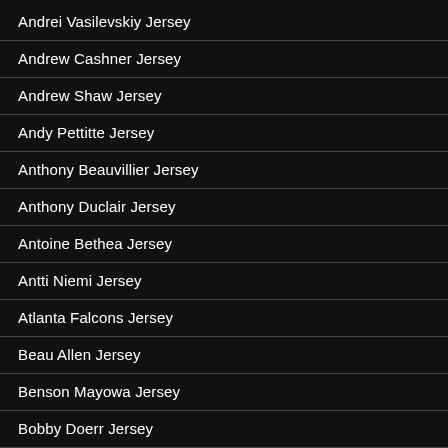Andrei Vasilevskiy Jersey
Andrew Cashner Jersey
Andrew Shaw Jersey
Andy Pettitte Jersey
Anthony Beauvillier Jersey
Anthony Duclair Jersey
Antoine Bethea Jersey
Antti Niemi Jersey
Atlanta Falcons Jersey
Beau Allen Jersey
Benson Mayowa Jersey
Bobby Doerr Jersey